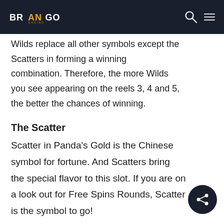Brango Casino — navigation header with logo, search icon, and menu icon
Wilds replace all other symbols except the Scatters in forming a winning combination. Therefore, the more Wilds you see appearing on the reels 3, 4 and 5, the better the chances of winning.
The Scatter
Scatter in Panda's Gold is the Chinese symbol for fortune. And Scatters bring the special flavor to this slot. If you are on a look out for Free Spins Rounds, Scatter is the symbol to go!